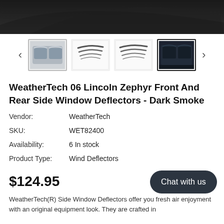[Figure (photo): Top portion of a car shown from rear/roof angle in dark monochrome — product hero image]
[Figure (photo): Thumbnail gallery row with left/right navigation arrows: (1) side window deflector installed on car, light background; (2) deflector strip illustration on white background; (3) deflector strip illustration on white background; (4) dark-tinted window deflector, active/selected]
WeatherTech 06 Lincoln Zephyr Front And Rear Side Window Deflectors - Dark Smoke
| Vendor: | WeatherTech |
| SKU: | WET82400 |
| Availability: | 6 In stock |
| Product Type: | Wind Deflectors |
$124.95
Chat with us
WeatherTech(R) Side Window Deflectors offer you fresh air enjoyment with an original equipment look. They are crafted in